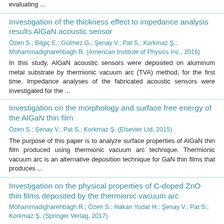evaluating ...
Investigation of the thickness effect to impedance analysis results AlGaN acoustic sensor
Özen S.; Bilgiç E.; Gülmez G.; Şenay V.; Pat S.; Korkmaz Ş.; Mohammadigharehbagh R. (American Institute of Physics Inc., 2016)
In this study, AlGaN acoustic sensors were deposited on aluminum metal substrate by thermionic vacuum arc (TVA) method, for the first time. Impedance analyses of the fabricated acoustic sensors were investigated for the ...
Investigation on the morphology and surface free energy of the AlGaN thin film
Özen S.; Şenay V.; Pat S.; Korkmaz Ş. (Elsevier Ltd, 2015)
The purpose of this paper is to analyze surface properties of AlGaN thin film produced using thermionic vacuum arc technique. Thermionic vacuum arc is an alternative deposition technique for GaN thin films that produces ...
Investigation on the physical properties of C-doped ZnO thin films deposited by the thermionic vacuum arc
Mohammadigharehbagh R.; Özen S.; Hakan Yudar H.; Şenay V.; Pat S.; Korkmaz Ş. (Springer Verlag, 2017)
The aim of this study is to determine some physical properties of C-